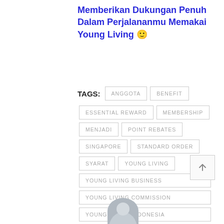Memberikan Dukungan Penuh Dalam Perjalananmu Memakai Young Living 🙂
TAGS: ANGGOTA BENEFIT ESSENTIAL REWARD MEMBERSHIP MENJADI POINT REBATES SINGAPORE STANDARD ORDER SYARAT YOUNG LIVING YOUNG LIVING BUSINESS YOUNG LIVING COMMISSION YOUNG LIVING INDONESIA YOUNG LIVING RETREAT